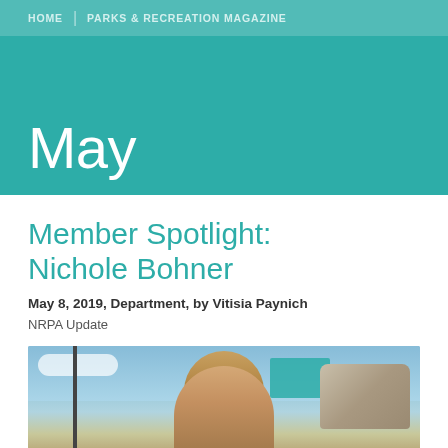HOME | PARKS & RECREATION MAGAZINE
May
Member Spotlight: Nichole Bohner
May 8, 2019, Department, by Vitisia Paynich
NRPA Update
[Figure (photo): Photo of Nichole Bohner outdoors with teal umbrella/tent and stone wall in background, blue sky with clouds]